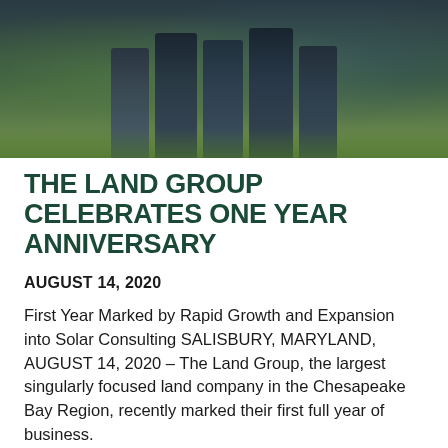[Figure (photo): Group of people standing outdoors in jeans, photographed from waist down, with a green landscape and sky in background]
THE LAND GROUP CELEBRATES ONE YEAR ANNIVERSARY
AUGUST 14, 2020
First Year Marked by Rapid Growth and Expansion into Solar Consulting SALISBURY, MARYLAND, AUGUST 14, 2020 – The Land Group, the largest singularly focused land company in the Chesapeake Bay Region, recently marked their first full year of business.